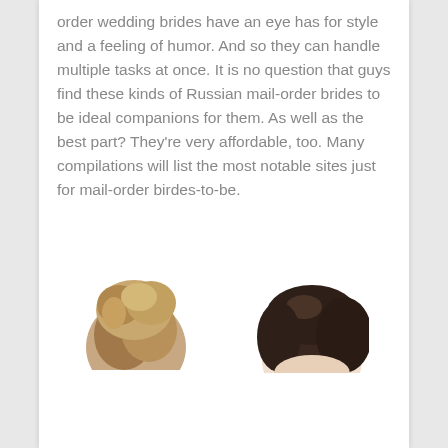order wedding brides have an eye has for style and a feeling of humor. And so they can handle multiple tasks at once. It is no question that guys find these kinds of Russian mail-order brides to be ideal companions for them. As well as the best part? They're very affordable, too. Many compilations will list the most notable sites just for mail-order birdes-to-be.
[Figure (photo): Two partial head photos side by side — left shows a person with light brown tousled hair, right shows a person with dark brown hair pulled back, both cropped at the top of the frame showing only the tops of heads.]